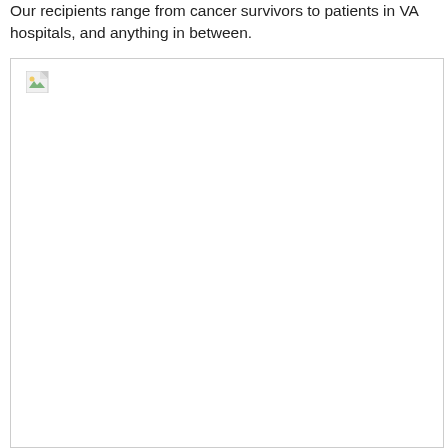Our recipients range from cancer survivors to patients in VA hospitals, and anything in between.
[Figure (photo): A placeholder image box with a broken image icon in the top-left corner, indicating a missing or unloaded photograph.]